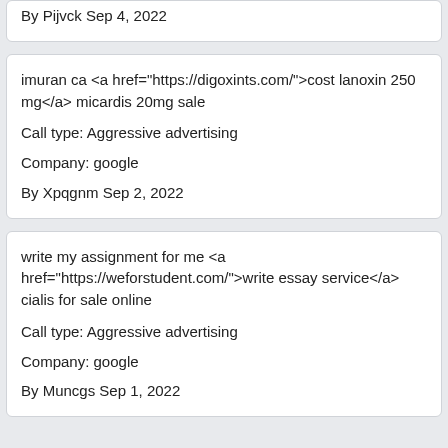By Pijvck Sep 4, 2022
imuran ca <a href="https://digoxints.com/">cost lanoxin 250 mg</a> micardis 20mg sale

Call type: Aggressive advertising

Company: google

By Xpqgnm Sep 2, 2022
write my assignment for me <a href="https://weforstudent.com/">write essay service</a> cialis for sale online

Call type: Aggressive advertising

Company: google

By Muncgs Sep 1, 2022